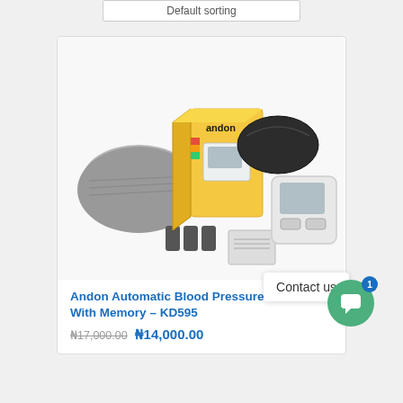Default sorting
[Figure (photo): Andon Automatic Blood Pressure Monitor KD595 product photo showing the device, arm cuff, carrying case, batteries, instruction manual, and retail box with the Andon brand logo and yellow/green/red color strip]
Andon Automatic Blood Pressure Monitor With Memory – KD595
₦17,000.00 ₦14,000.00